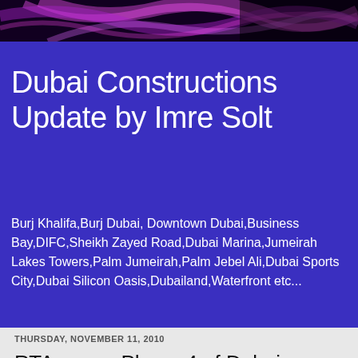[Figure (illustration): Dark banner with pink/magenta swirling smoke or energy streaks on a black background]
Dubai Constructions Update by Imre Solt
Burj Khalifa,Burj Dubai, Downtown Dubai,Business Bay,DIFC,Sheikh Zayed Road,Dubai Marina,Jumeirah Lakes Towers,Palm Jumeirah,Palm Jebel Ali,Dubai Sports City,Dubai Silicon Oasis,Dubailand,Waterfront etc...
THURSDAY, NOVEMBER 11, 2010
RTA opens Phase 4 of Dubai Bypass Road linking up with Al Faya Road, Abu Dhabi